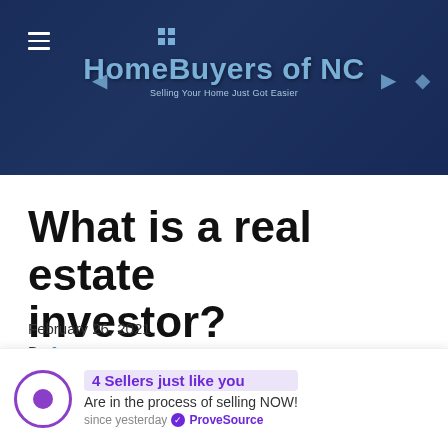HomeBuyers of NC — Selling Your Home Just Got Easier
What is a real estate investor?
February 26, 2021
By Jerry
In this weeks ask Homebuyers of NC with Patrick Giarelli. Patrick answers, what exactly is a real estate investor.
[Figure (screenshot): Video thumbnail strip — black bars on left and right, brownish center image]
4 Sellers just like you
Are in the process of selling NOW!
since yesterday ✔ ProveSource